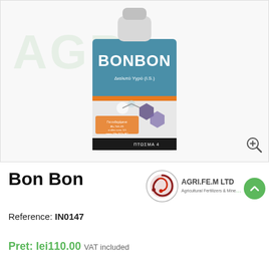[Figure (photo): Product bottle of Bon Bon liquid (Διaλυτό Υγρό I.S.) with blue label featuring chemical/molecular graphics and 'BONBON' text, shown with a green AGRI.FE.M watermark in the background]
Bon Bon
Reference: IN0147
Pret: lei110.00 VAT included
[Figure (logo): AGRI.FE.M LTD logo - Agricultural Fertilizers & Minerals - red circular emblem with a spiral/snake design]